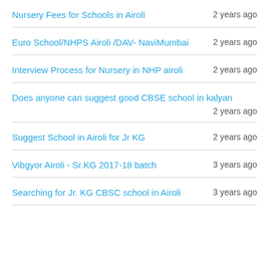Nursery Fees for Schools in Airoli
Euro School/NHPS Airoli /DAV- NaviMumbai
Interview Process for Nursery in NHP airoli
Does anyone can suggest good CBSE school in kalyan
Suggest School in Airoli for Jr KG
Vibgyor Airoli - Sr.KG 2017-18 batch
Searching for Jr. KG CBSC school in Airoli